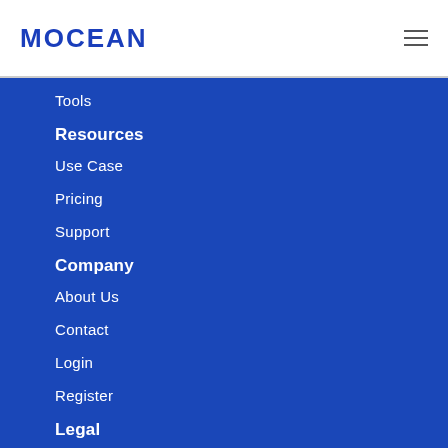MOCEAN
Tools
Resources
Use Case
Pricing
Support
Company
About Us
Contact
Login
Register
Legal
Terms and Condition
Privacy